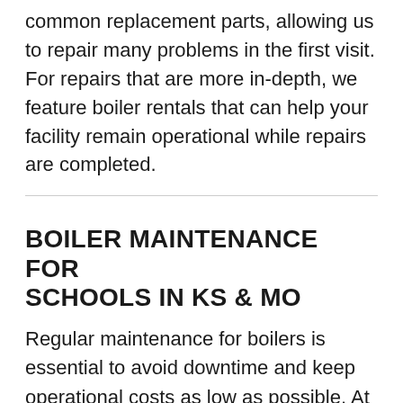common replacement parts, allowing us to repair many problems in the first visit. For repairs that are more in-depth, we feature boiler rentals that can help your facility remain operational while repairs are completed.
BOILER MAINTENANCE FOR SCHOOLS IN KS & MO
Regular maintenance for boilers is essential to avoid downtime and keep operational costs as low as possible. At North Point